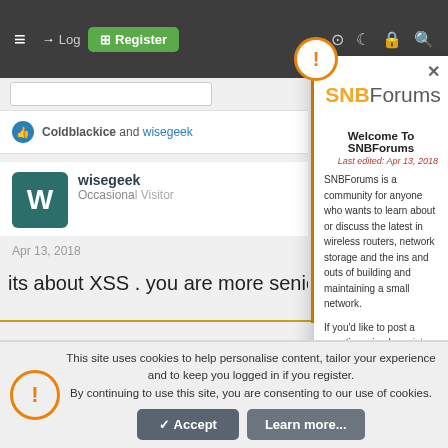[Figure (screenshot): SNBForums website screenshot showing navigation bar with hamburger menu, login arrow, Register button in green, and icons on the right]
Coldblackice and wisegeek
wisegeek
Occasional Visitor
Apr 13, 2018
its about XSS . you are more senior to me, and I respect
[Figure (screenshot): SNBForums popup modal showing logo with bee mascot, 'Welcome To SNBForums' title, last edited Apr 13, 2018, introductory text about the community, register link, SmallNetBuilder, Router Charts, Ranker links, and close button X]
Welcome To SNBForums
Last edited: Apr 13, 2018
SNBForums is a community for anyone who wants to learn about or discuss the latest in wireless routers, network storage and the ins and outs of building and maintaining a small network.
If you'd like to post a question, simply register and have at it!
While you're at it, please check out SmallNetBuilder for product reviews and our famous Router Charts, Ranker and plenty more!
This site uses cookies to help personalise content, tailor your experience and to keep you logged in if you register.
By continuing to use this site, you are consenting to our use of cookies.
Accept
Learn more...